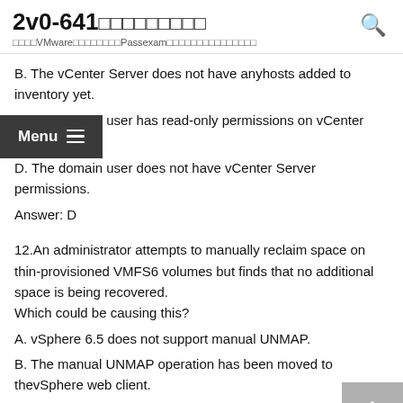2v0-641□□□□□□□□□  □□□□VMware□□□□□□□□Passexam□□□□□□□□□□□□□□□
B. The vCenter Server does not have anyhosts added to inventory yet.
C. The domain user has read-only permissions on vCenter Server.
D. The domain user does not have vCenter Server permissions.
Answer: D
12.An administrator attempts to manually reclaim space on thin-provisioned VMFS6 volumes but finds that no additional space is being recovered. Which could be causing this?
A. vSphere 6.5 does not support manual UNMAP.
B. The manual UNMAP operation has been moved to thevSphere web client.